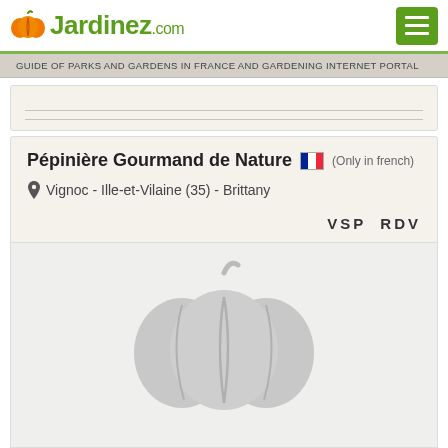Jardinez.com
GUIDE OF PARKS AND GARDENS IN FRANCE AND GARDENING INTERNET PORTAL
Pépinière Gourmand de Nature (Only in french)
Vignoc - Ille-et-Vilaine (35) - Brittany
VSP  RDV
[Figure (illustration): Placeholder image showing a light grey pumpkin silhouette on a light grey/white background]